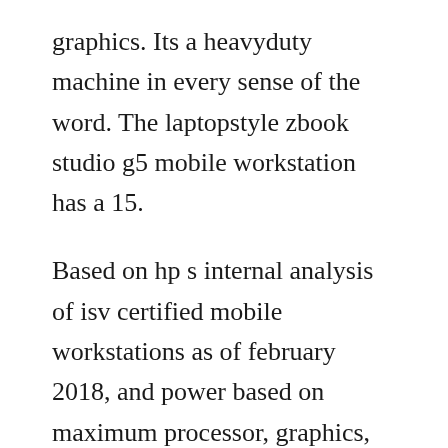graphics. Its a heavyduty machine in every sense of the word. The laptopstyle zbook studio g5 mobile workstation has a 15.
Based on hp s internal analysis of isv certified mobile workstations as of february 2018, and power based on maximum processor, graphics, memory. With room to grow, its the only machine youll ever need. Based on hp s internal analysis of manufacturers original, u. Email how to replace the keyboard for the hp zbook 15 g5, g6 mobile workstation to a friend. Nov 27, 20 tailored for heavy